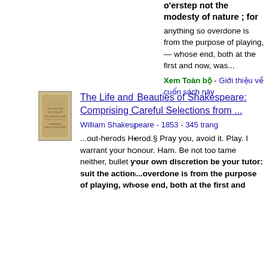o'erstep not the modesty of nature ; for anything so overdone is from the purpose of playing, — whose end, both at the first and now, was...
Xem Toàn bộ - Giới thiệu về cuốn sách này
[Figure (photo): Thumbnail image of an old book cover for 'The Life and Beauties of Shakespeare']
The Life and Beauties of Shakespeare: Comprising Careful Selections from ...
William Shakespeare - 1853 - 345 trang
...out-herods Herod.§ Pray you, avoid it. Play. I warrant your honour. Ham. Be not too tame neither, bullet your own discretion be your tutor: suit the action...overdone is from the purpose of playing, whose end, both at the first and...